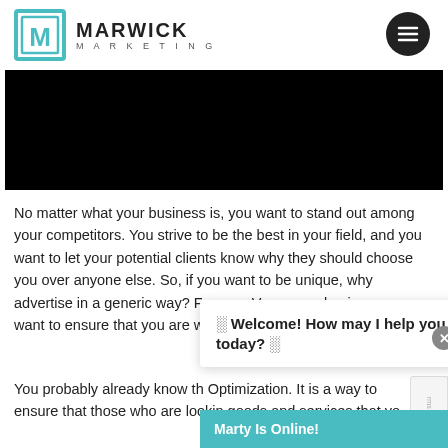[Figure (logo): Marwick Marketing logo: teal square bracket M icon with company name MARWICK MARKETING in bold sans-serif]
[Figure (photo): Black banner image, content not visible]
No matter what your business is, you want to stand out among your competitors. You strive to be the best in your field, and you want to let your potential clients know why they should choose you over anyone else. So, if you want to be unique, why advertise in a generic way? For your Vancouver business, you want to ensure that you are working with a reliable SEO C
You probably already know th Optimization. It is a way to ensure that those who are lookin goods and services that yo
[Figure (screenshot): Chat widget popup with text: Welcome! How may I help you today? and Marty Is Online! bar in teal]